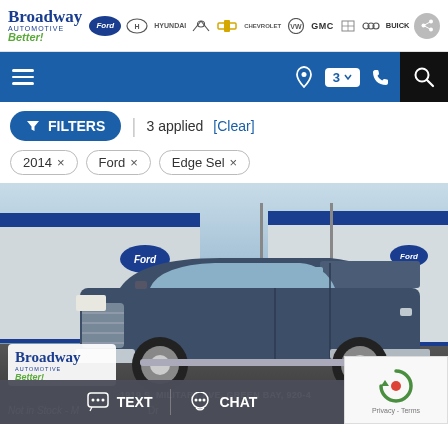Broadway Automotive Better! | Ford | Hyundai | Infiniti | Chevrolet | Volkswagen | GMC | Cadillac | Buick
[Figure (screenshot): Navigation bar with hamburger menu, location icon, '3' dropdown badge, phone icon, and search icon on dark blue background]
FILTERS | 3 applied [Clear]
2014 ×
Ford ×
Edge Sel ×
[Figure (photo): Dark blue/gray Ford F-150 pickup truck parked in front of a Ford dealership with blue warehouse buildings. Broadway Automotive Better! logo overlay in bottom left. Address: 1919 S. MILITARY AVE, GREEN BAY visible at bottom.]
Not in Stock - [partial text cut off]
TEXT   CHAT